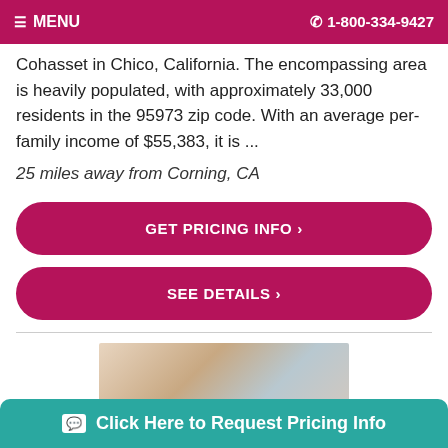MENU   1-800-334-9427
Cohasset in Chico, California. The encompassing area is heavily populated, with approximately 33,000 residents in the 95973 zip code. With an average per-family income of $55,383, it is ...
25 miles away from Corning, CA
GET PRICING INFO ›
SEE DETAILS ›
[Figure (photo): Photo of two elderly people]
Click Here to Request Pricing Info